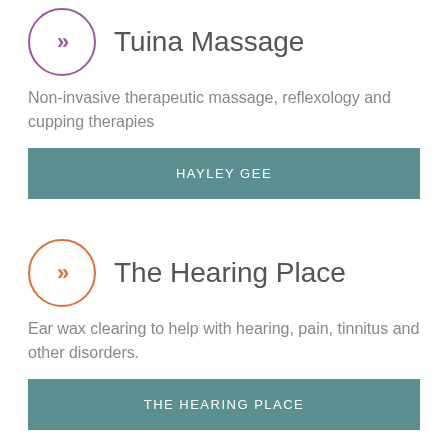Tuina Massage
Non-invasive therapeutic massage, reflexology and cupping therapies
HAYLEY GEE
The Hearing Place
Ear wax clearing to help with hearing, pain, tinnitus and other disorders.
THE HEARING PLACE